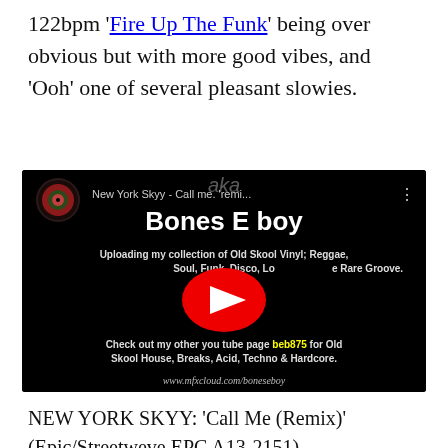122bpm 'Fire Up The Funk' being over obvious but with more good vibes, and 'Ooh' one of several pleasant slowies.
[Figure (screenshot): YouTube video thumbnail for 'New York Skyy - Call me. remi...' by Bones E boy channel, showing black background with channel info about Old Skool Vinyl collection and a red YouTube play button in center.]
NEW YORK SKYY: 'Call Me (Remix)' (Epic/Streetweve EPC A13-2151). Although the original (now also on 2-track flip) was B-side to 'Let's Celebrate', this is a